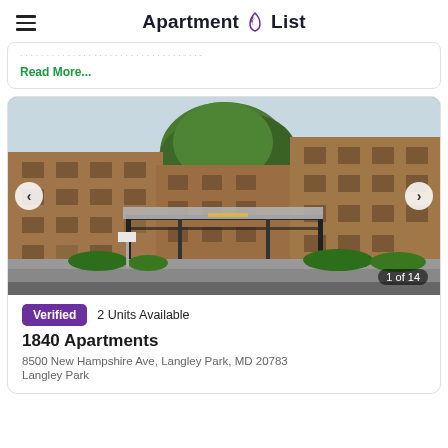Apartment List
Read More...
[Figure (photo): Exterior photo of a multi-story brick apartment building with a covered entrance canopy, trees, and landscaping. Photo counter shows 1 of 14.]
Verified   2 Units Available
1840 Apartments
8500 New Hampshire Ave, Langley Park, MD 20783
Langley Park